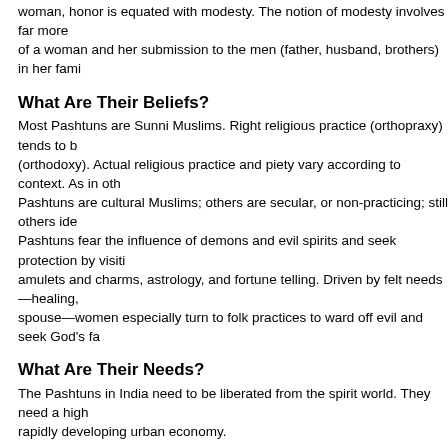woman, honor is equated with modesty. The notion of modesty involves far more of a woman and her submission to the men (father, husband, brothers) in her fami
What Are Their Beliefs?
Most Pashtuns are Sunni Muslims. Right religious practice (orthopraxy) tends to b (orthodoxy). Actual religious practice and piety vary according to context. As in oth Pashtuns are cultural Muslims; others are secular, or non-practicing; still others ide Pashtuns fear the influence of demons and evil spirits and seek protection by visiti amulets and charms, astrology, and fortune telling. Driven by felt needs—healing, spouse—women especially turn to folk practices to ward off evil and seek God's fa
What Are Their Needs?
The Pashtuns in India need to be liberated from the spirit world. They need a high rapidly developing urban economy.
Prayer Points
Pray for each subgroup of Pashtuns in India to have a movement to Christ which w Ask God's Spirit to soften hearts to the truth of the gospel, to confirm the Word wit minds and hearts of Pashtun! Ask God to anoint, and grant wisdom, favor and fruitfulness to workers and agenci Most Pashtun women are troubled by fears and have deep needs. Ask God to tou television, and to help them put their faith in the Almighty savior.
Text Source:   Anonymous
Full Joshua Project profile at: www.joshuaproject.net/people